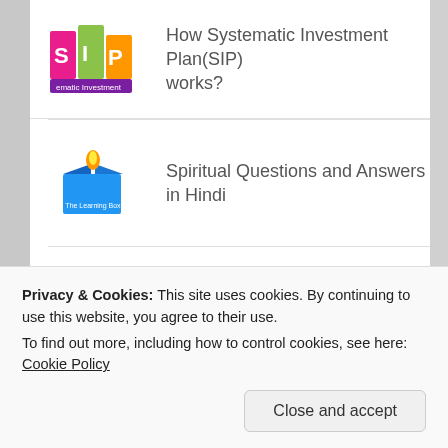How Systematic Investment Plan(SIP) works?
Spiritual Questions and Answers in Hindi
What you have learned from life so far?
What are the computer interface ports ?
Privacy & Cookies: This site uses cookies. By continuing to use this website, you agree to their use.
To find out more, including how to control cookies, see here: Cookie Policy
Close and accept